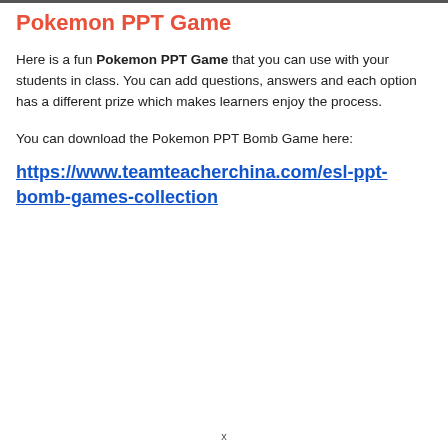Pokemon PPT Game
Here is a fun Pokemon PPT Game that you can use with your students in class. You can add questions, answers and each option has a different prize which makes learners enjoy the process.
You can download the Pokemon PPT Bomb Game here:
https://www.teamteacherchina.com/esl-ppt-bomb-games-collection
x